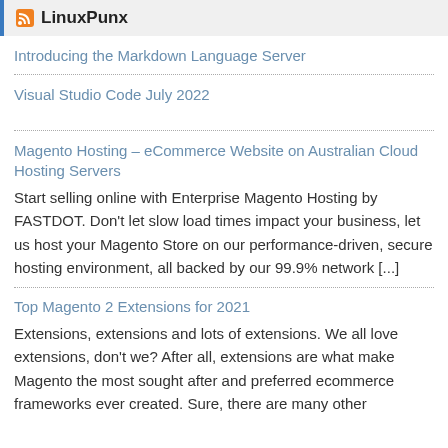LinuxPunx
Introducing the Markdown Language Server
Visual Studio Code July 2022
Magento Hosting – eCommerce Website on Australian Cloud Hosting Servers
Start selling online with Enterprise Magento Hosting by FASTDOT. Don't let slow load times impact your business, let us host your Magento Store on our performance-driven, secure hosting environment, all backed by our 99.9% network [...]
Top Magento 2 Extensions for 2021
Extensions, extensions and lots of extensions. We all love extensions, don't we? After all, extensions are what make Magento the most sought after and preferred ecommerce frameworks ever created. Sure, there are many other